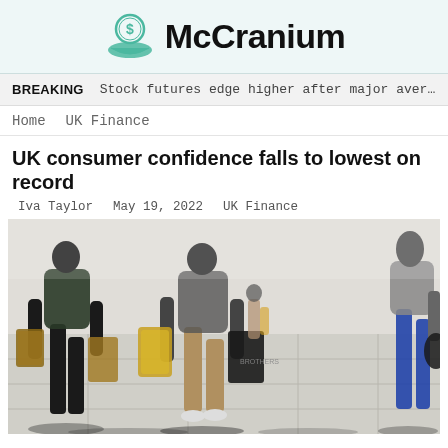McCranium
BREAKING   Stock futures edge higher after major aver…
Home   UK Finance
UK consumer confidence falls to lowest on record
Iva Taylor   May 19, 2022   UK Finance
[Figure (photo): Shoppers walking on a sunny pavement carrying shopping bags, silhouetted against bright sunlight casting long shadows.]